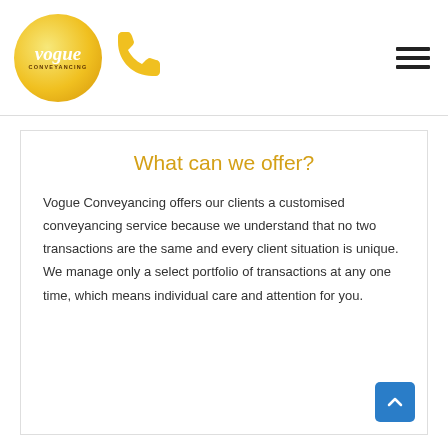[Figure (logo): Vogue Conveyancing logo: yellow circle with italic white 'vogue' text and 'CONVEYANCING' beneath]
[Figure (illustration): Yellow phone/telephone handset icon]
[Figure (illustration): Hamburger menu icon — three horizontal black lines]
What can we offer?
Vogue Conveyancing offers our clients a customised conveyancing service because we understand that no two transactions are the same and every client situation is unique. We manage only a select portfolio of transactions at any one time, which means individual care and attention for you.